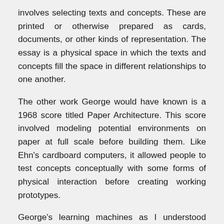involves selecting texts and concepts. These are printed or otherwise prepared as cards, documents, or other kinds of representation. The essay is a physical space in which the texts and concepts fill the space in different relationships to one another.
The other work George would have known is a 1968 score titled Paper Architecture. This score involved modeling potential environments on paper at full scale before building them. Like Ehn's cardboard computers, it allowed people to test concepts conceptually with some forms of physical interaction before creating working prototypes.
George's learning machines as I understood them had aspects or attributes of all these systems. I do not know whether he ever intended to realize the learning machine concept in a more elaborate form, with mechanical or audio-visual components. As I saw it, the concept offered